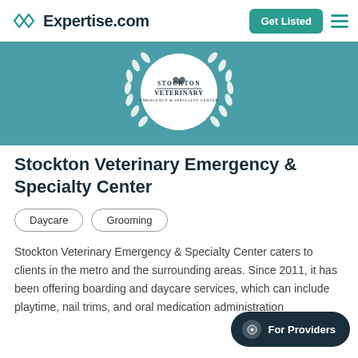Expertise.com | Get Listed
[Figure (logo): Stockton Veterinary Emergency & Specialty Center logo with laurel wreath on teal background]
Stockton Veterinary Emergency & Specialty Center
Daycare
Grooming
Stockton Veterinary Emergency & Specialty Center caters to clients in the metro and the surrounding areas. Since 2011, it has been offering boarding and daycare services, which can include playtime, nail trims, and oral medication administration